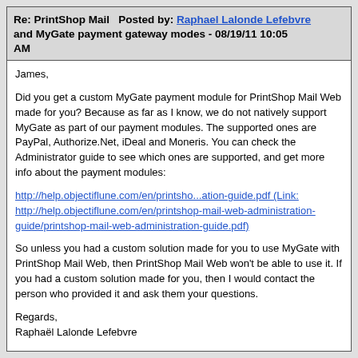Re: PrintShop Mail and MyGate payment gateway modes - 08/19/11 10:05 AM  Posted by: Raphael Lalonde Lefebvre
James,

Did you get a custom MyGate payment module for PrintShop Mail Web made for you? Because as far as I know, we do not natively support MyGate as part of our payment modules. The supported ones are PayPal, Authorize.Net, iDeal and Moneris. You can check the Administrator guide to see which ones are supported, and get more info about the payment modules:

http://help.objectiflune.com/en/printsho...ation-guide.pdf (Link: http://help.objectiflune.com/en/printshop-mail-web-administration-guide/printshop-mail-web-administration-guide.pdf)

So unless you had a custom solution made for you to use MyGate with PrintShop Mail Web, then PrintShop Mail Web won't be able to use it. If you had a custom solution made for you, then I would contact the person who provided it and ask them your questions.

Regards,
Raphaël Lalonde Lefebvre